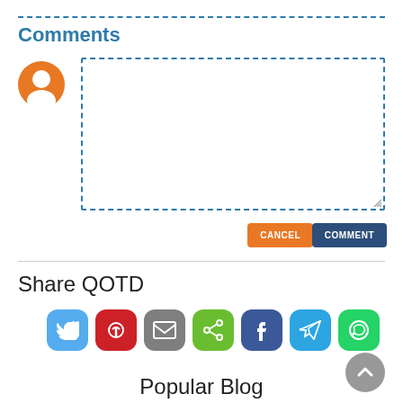Comments
[Figure (other): Comment text area input box with dashed blue border and user avatar icon]
CANCEL
COMMENT
Share QOTD
[Figure (other): Social media share buttons: Twitter, Pinterest, Email, Share, Facebook, Telegram, WhatsApp]
Popular Blog